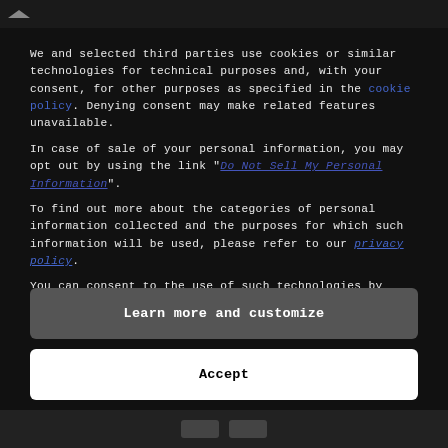We and selected third parties use cookies or similar technologies for technical purposes and, with your consent, for other purposes as specified in the cookie policy. Denying consent may make related features unavailable.
In case of sale of your personal information, you may opt out by using the link "Do Not Sell My Personal Information".
To find out more about the categories of personal information collected and the purposes for which such information will be used, please refer to our privacy policy.
You can consent to the use of such technologies by using the "Accept" button.
Learn more and customize
Accept